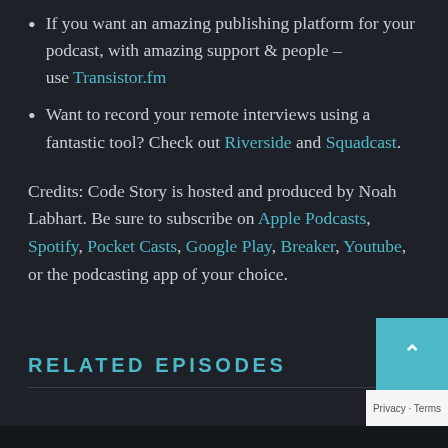If you want an amazing publishing platform for your podcast, with amazing support & people – use Transistor.fm
Want to record your remote interviews using a fantastic tool? Check out Riverside and Squadcast.
Credits: Code Story is hosted and produced by Noah Labhart. Be sure to subscribe on Apple Podcasts, Spotify, Pocket Casts, Google Play, Breaker, Youtube, or the podcasting app of your choice.
RELATED EPISODES